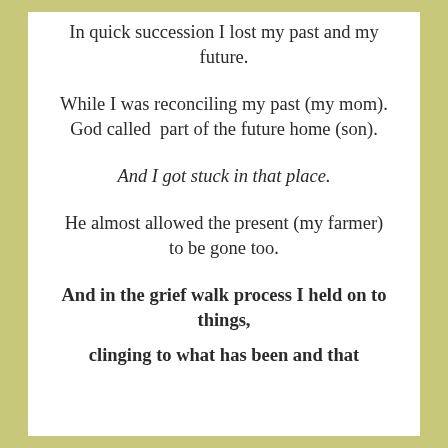In quick succession I lost my past and my future.
While I was reconciling my past (my mom).
God called  part of the future home (son).
And I got stuck in that place.
He almost allowed the present (my farmer) to be gone too.
And in the grief walk process I held on to things,
clinging to what has been and that